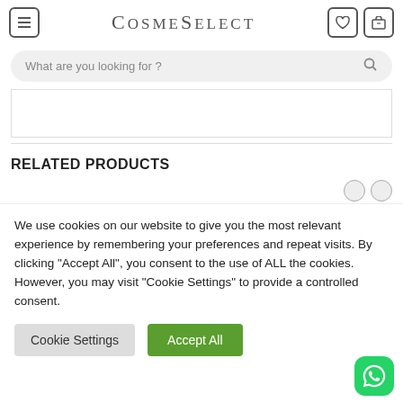CosmeSelect navigation bar with menu, logo, wishlist and cart icons
What are you looking for ?
[Figure (screenshot): Blank white content area with border]
RELATED PRODUCTS
We use cookies on our website to give you the most relevant experience by remembering your preferences and repeat visits. By clicking "Accept All", you consent to the use of ALL the cookies. However, you may visit "Cookie Settings" to provide a controlled consent.
Cookie Settings | Accept All